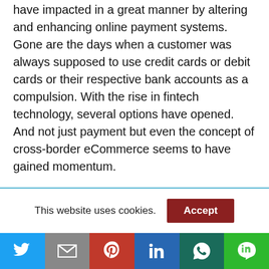have impacted in a great manner by altering and enhancing online payment systems. Gone are the days when a customer was always supposed to use credit cards or debit cards or their respective bank accounts as a compulsion. With the rise in fintech technology, several options have opened. And not just payment but even the concept of cross-border eCommerce seems to have gained momentum.
Things have certainly become easy, especially after incorporating Dwolla, Stripe, WePay, and